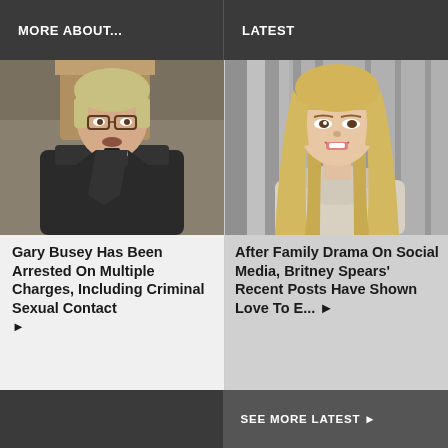MORE ABOUT...
LATEST
[Figure (photo): Man in judge's robe with glasses and gray-blonde hair, speaking in courtroom]
Gary Busey Has Been Arrested On Multiple Charges, Including Criminal Sexual Contact ▶
[Figure (photo): Blonde woman (Britney Spears) with long hair posing against silver/gray background]
After Family Drama On Social Media, Britney Spears' Recent Posts Have Shown Love To E... ▶
SEE MORE LATEST ▶